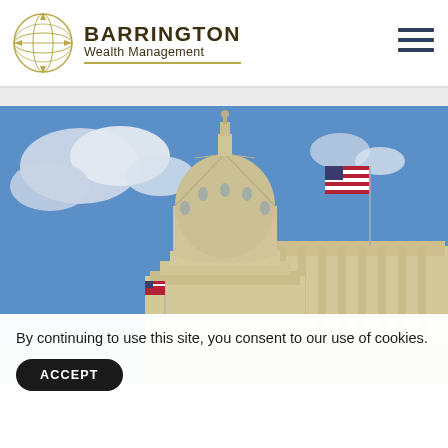[Figure (logo): Barrington Wealth Management globe logo with grid lines and arrows]
BARRINGTON Wealth Management
[Figure (photo): US Capitol building dome with American flag against blue sky with clouds]
By continuing to use this site, you consent to our use of cookies.
ACCEPT